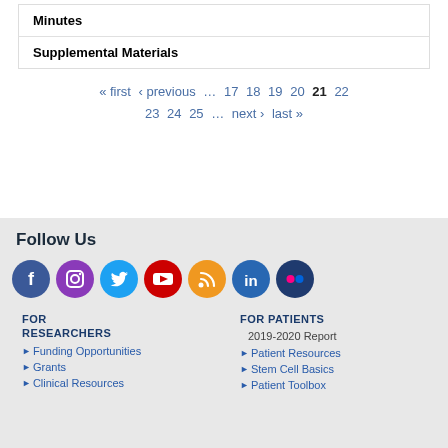Minutes
Supplemental Materials
« first ‹ previous … 17 18 19 20 21 22 23 24 25 … next › last »
Follow Us
[Figure (infographic): Row of 7 social media icons: Facebook (dark blue), Instagram (purple/pink), Twitter (light blue), YouTube (red), RSS (orange), LinkedIn (dark blue), Flickr (dark blue)]
FOR RESEARCHERS
Funding Opportunities
Grants
Clinical Resources
FOR PATIENTS
2019-2020 Report
Patient Resources
Stem Cell Basics
Patient Toolbox